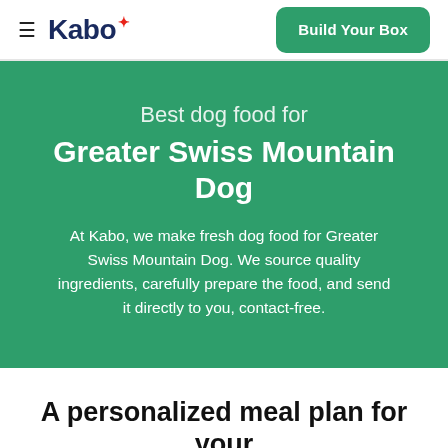Kabo — Build Your Box
Best dog food for Greater Swiss Mountain Dog
At Kabo, we make fresh dog food for Greater Swiss Mountain Dog. We source quality ingredients, carefully prepare the food, and send it directly to you, contact-free.
A personalized meal plan for your